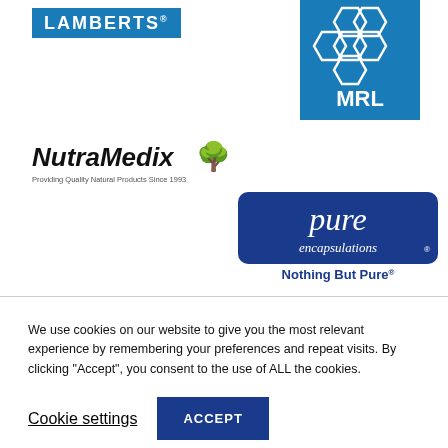[Figure (logo): Lamberts blue rectangular logo with white bold text]
[Figure (logo): MRL blue square logo with honeycomb hexagon pattern and white MRL text]
[Figure (logo): NutraMedix logo with bold italic text and tree icon, tagline: Providing Quality Natural Products Since 1993]
[Figure (logo): Pure Encapsulations blue rounded rectangle logo with italic white text, tagline: Nothing But Pure]
We use cookies on our website to give you the most relevant experience by remembering your preferences and repeat visits. By clicking "Accept", you consent to the use of ALL the cookies.
Cookie settings
ACCEPT